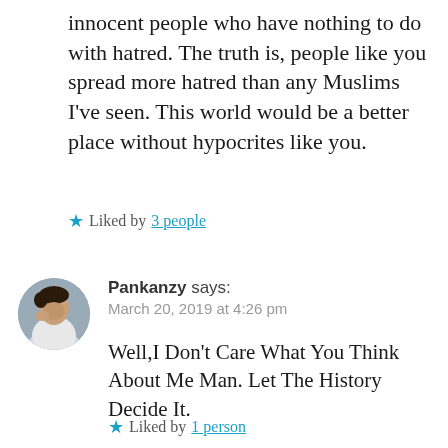innocent people who have nothing to do with hatred. The truth is, people like you spread more hatred than any Muslims I've seen. This world would be a better place without hypocrites like you.
★ Liked by 3 people
[Figure (photo): Circular avatar photo of a man in a white shirt, looking down with hand near face]
Pankanzy says:
March 20, 2019 at 4:26 pm
Well,I Don't Care What You Think About Me Man. Let The History Decide It.
★ Liked by 1 person